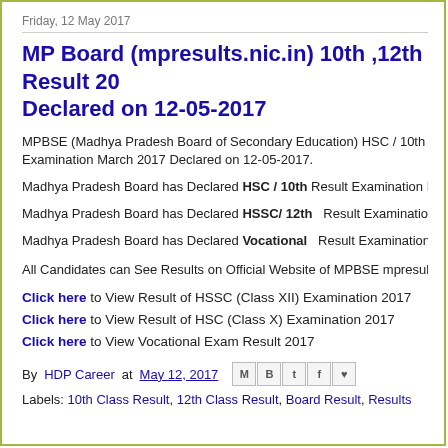Friday, 12 May 2017
MP Board (mpresults.nic.in) 10th ,12th Result 2017 Declared on 12-05-2017
MPBSE (Madhya Pradesh Board of Secondary Education) HSC / 10th ,HSSC/12th Examination March 2017 Declared on 12-05-2017.
Madhya Pradesh Board has Declared HSC / 10th Result Examination March 2017
Madhya Pradesh Board has Declared HSSC/ 12th  Result Examination March 2017
Madhya Pradesh Board has Declared Vocational  Result Examination March 2017
All Candidates can See Results on Official Website of MPBSE mpresults.nic.in
Click here to View Result of HSSC (Class XII) Examination 2017
Click here to View Result of HSC (Class X) Examination 2017
Click here to View Vocational Exam Result 2017
By HDP Career at May 12, 2017
Labels: 10th Class Result, 12th Class Result, Board Result, Results